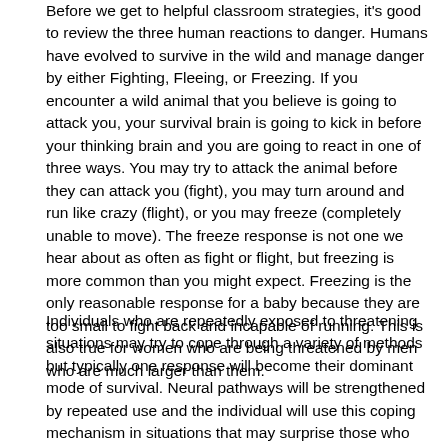Before we get to helpful classroom strategies, it's good to review the three human reactions to danger. Humans have evolved to survive in the wild and manage danger by either Fighting, Fleeing, or Freezing. If you encounter a wild animal that you believe is going to attack you, your survival brain is going to kick in before your thinking brain and you are going to react in one of three ways. You may try to attack the animal before they can attack you (fight), you may turn around and run like crazy (flight), or you may freeze (completely unable to move). The freeze response is not one we hear about as often as fight or flight, but freezing is more common than you might expect. Freezing is the only reasonable response for a baby because they are too small to fight back and incapable of running. This is also true for women who are being threatened by men who are much larger than them.
Individuals who are repeatedly exposed to threatening situations may try to cope through a variety of methods but typically one response will become their dominant mode of survival. Neural pathways will be strengthened by repeated use and the individual will use this coping mechanism in situations that may surprise those who have not experienced severe or persistent trauma. Their behaviors are often not advantageous to them or their